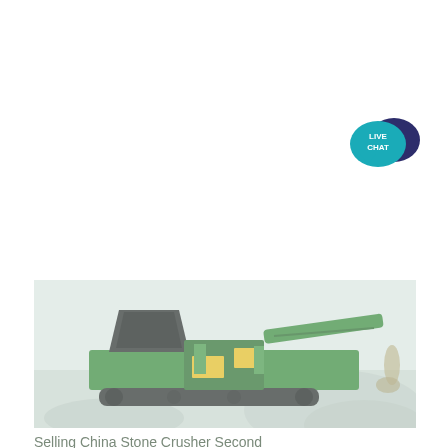[Figure (logo): Live Chat widget icon — teal speech bubble with 'LIVE CHAT' text overlapping a dark navy speech bubble]
[Figure (photo): Green mobile stone crusher machine on a gravel/rock site, crushing stone with material falling off a conveyor belt on the right side. Machine is tracked and has yellow warning labels. Background is hazy/misty.]
Selling China Stone Crusher Second